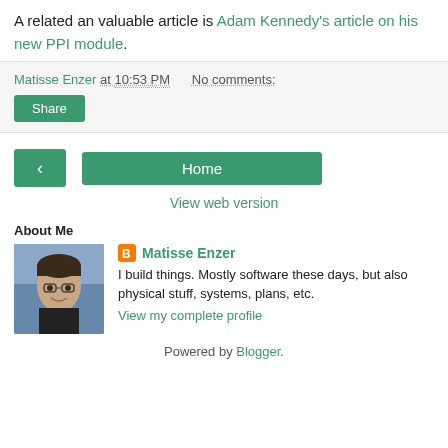A related an valuable article is Adam Kennedy's article on his new PPI module.
Matisse Enzer at 10:53 PM   No comments:
Share
< (prev) | Home | View web version
About Me
[Figure (photo): Profile photo of Matisse Enzer - a man with glasses and dark hair]
Matisse Enzer
I build things. Mostly software these days, but also physical stuff, systems, plans, etc.
View my complete profile
Powered by Blogger.